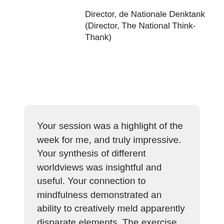Director, de Nationale Denktank (Director, The National Think-Thank)
Your session was a highlight of the week for me, and truly impressive. Your synthesis of different worldviews was insightful and useful. Your connection to mindfulness demonstrated an ability to creatively meld apparently disparate elements. The exercise